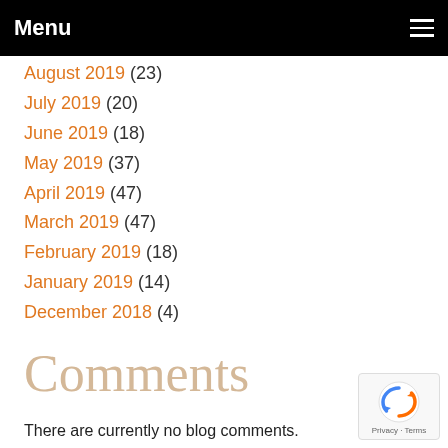Menu
August 2019 (23)
July 2019 (20)
June 2019 (18)
May 2019 (37)
April 2019 (47)
March 2019 (47)
February 2019 (18)
January 2019 (14)
December 2018 (4)
Comments
There are currently no blog comments.